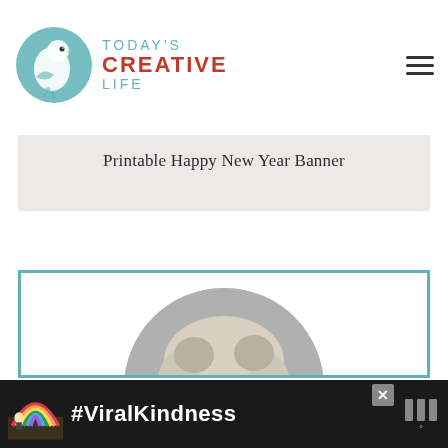TODAY'S CREATIVE LIFE
Printable Happy New Year Banner
[Figure (photo): Black and white circular portrait photo of a woman with curly blonde hair, smiling, inside a teal-bordered white card]
[Figure (infographic): Advertisement banner with dark background showing a rainbow graphic, '#ViralKindness' text in white, a close button, and a logo on the right]